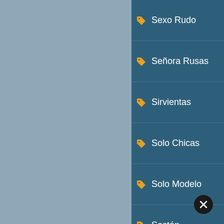Sexo Rudo 1175
Señora Rusas 550
Sirvientas 402
Solo Chicas 1581
Solo Modelo 11168
Sostén 7906
Strapon 1693
Strip-Tease 1711
Tacones 8758
Tanga 7390
Tatuaje 11827
Tetas Grandes 57294
Tetas Naturales 38621